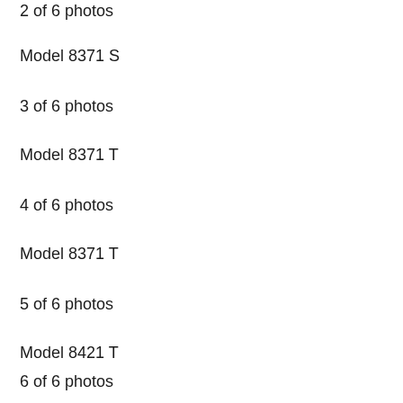2 of 6 photos
Model 8371 S
3 of 6 photos
Model 8371 T
4 of 6 photos
Model 8371 T
5 of 6 photos
Model 8421 T
6 of 6 photos